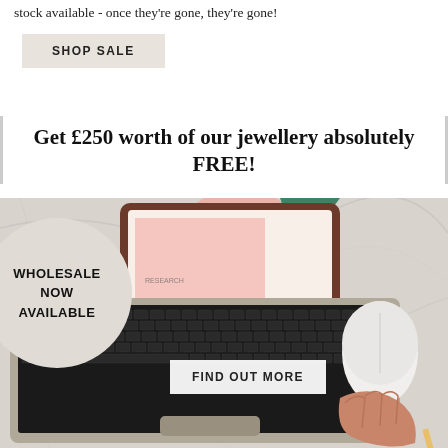stock available - once they're gone, they're gone!
SHOP SALE
Get £250 worth of our jewellery absolutely FREE!
[Figure (photo): Person using a laptop on a marble surface with a white mouse, colorful papers visible, circle badge overlay reading WHOLESALE NOW AVAILABLE, button overlay reading FIND OUT MORE]
WHOLESALE NOW AVAILABLE
FIND OUT MORE